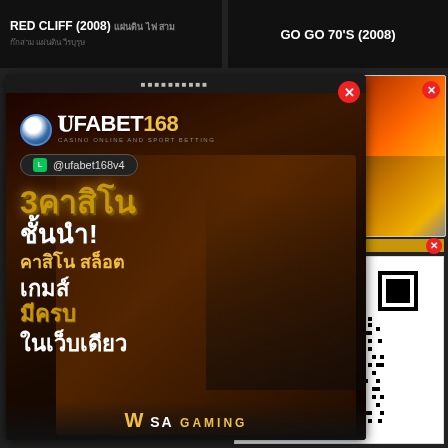RED CLIFF (2008) — Thai subtitle text
GO GO 70'S (2008)
[Figure (advertisement): UFABET168 gambling advertisement overlay with Thai text: 3คาสิโน ชั้นนำ! คาสิโน สล็อต เกมส์ มีครบ ในเว็บเดียว, LINE @ufabet168v4, WW SA GAMING footer]
[Figure (photo): Grid of 4 movie poster images (black and white fighter, red/fire action scene, two more action images)]
[Figure (other): QR code for UFABET168 gambling website]